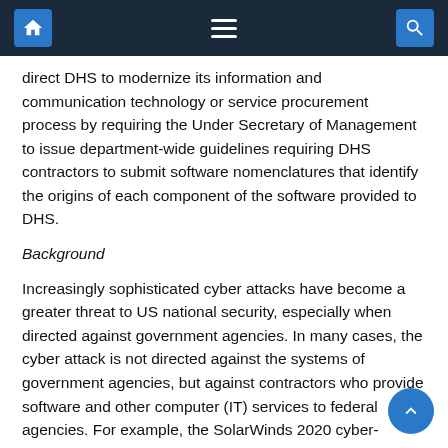Navigation bar with home, menu, and search icons
direct DHS to modernize its information and communication technology or service procurement process by requiring the Under Secretary of Management to issue department-wide guidelines requiring DHS contractors to submit software nomenclatures that identify the origins of each component of the software provided to DHS.
Background
Increasingly sophisticated cyber attacks have become a greater threat to US national security, especially when directed against government agencies. In many cases, the cyber attack is not directed against the systems of government agencies, but against contractors who provide software and other computer (IT) services to federal agencies. For example, the SolarWinds 2020 cyber-espionage campaign, which has compromised many